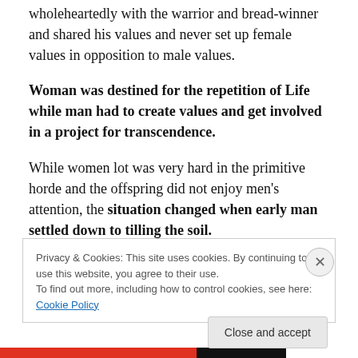wholeheartedly with the warrior and bread-winner and shared his values and never set up female values in opposition to male values.
Woman was destined for the repetition of Life while man had to create values and get involved in a project for transcendence.
While women lot was very hard in the primitive horde and the offspring did not enjoy men's attention, the situation changed when early man settled down to tilling the soil.
Privacy & Cookies: This site uses cookies. By continuing to use this website, you agree to their use. To find out more, including how to control cookies, see here: Cookie Policy